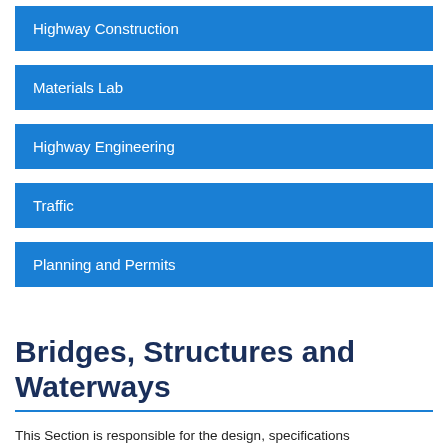Highway Construction
Materials Lab
Highway Engineering
Traffic
Planning and Permits
Bridges, Structures and Waterways
This Section is responsible for the design, specifications